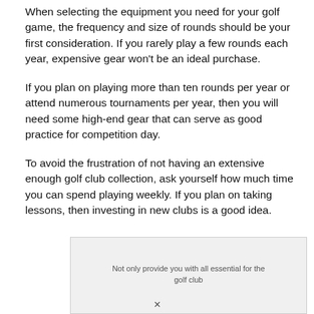When selecting the equipment you need for your golf game, the frequency and size of rounds should be your first consideration. If you rarely play a few rounds each year, expensive gear won't be an ideal purchase.
If you plan on playing more than ten rounds per year or attend numerous tournaments per year, then you will need some high-end gear that can serve as good practice for competition day.
To avoid the frustration of not having an extensive enough golf club collection, ask yourself how much time you can spend playing weekly. If you plan on taking lessons, then investing in new clubs is a good idea.
[Figure (other): Partially visible overlay box with blurred/watermark text related to golf content, with an X close button.]